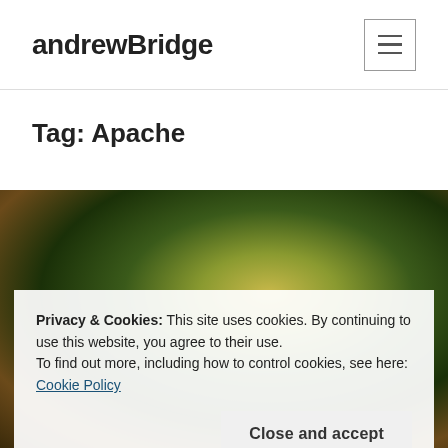andrewBridge
Tag: Apache
[Figure (photo): Close-up macro photograph of moss or lichen with green, yellow-green, and brown tones on a rock or log surface.]
Privacy & Cookies: This site uses cookies. By continuing to use this website, you agree to their use.
To find out more, including how to control cookies, see here: Cookie Policy
Close and accept